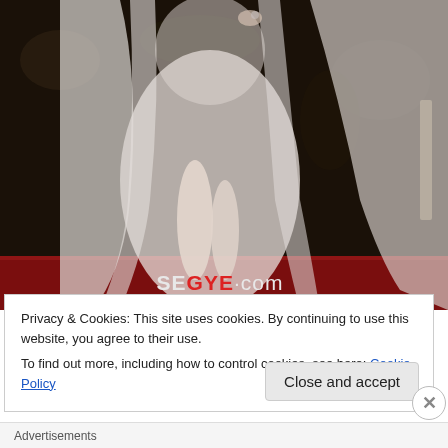[Figure (photo): A person wearing a sheer white/ivory flowing gown on a red carpet, with a dark background and photographers. A watermark reading 'SEGYE.com' is overlaid on the lower portion of the image.]
Privacy & Cookies: This site uses cookies. By continuing to use this website, you agree to their use.
To find out more, including how to control cookies, see here: Cookie Policy
Close and accept
Advertisements